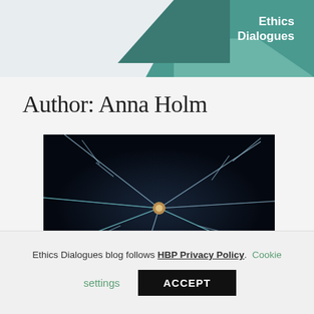Ethics Dialogues
Author: Anna Holm
[Figure (photo): Close-up photograph of a neuron with glowing dendrites extending outward against a dark background, rendered in blue and purple tones.]
Ethics Dialogues blog follows HBP Privacy Policy. Cookie settings ACCEPT